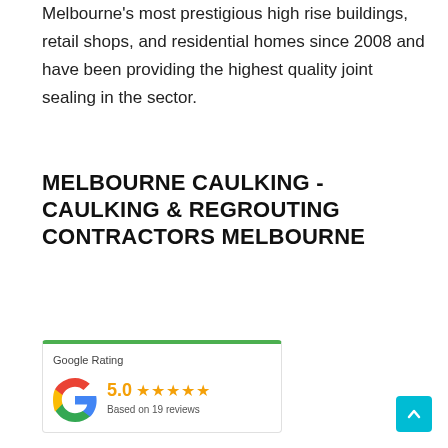Melbourne's most prestigious high rise buildings, retail shops, and residential homes since 2008 and have been providing the highest quality joint sealing in the sector.
MELBOURNE CAULKING - CAULKING & REGROUTING CONTRACTORS MELBOURNE
[Figure (infographic): Google Rating widget with green top border, Google G logo, score 5.0 with 5 orange stars, text 'Based on 19 reviews']
[Figure (other): Back to top button - teal/cyan square with upward chevron arrow]